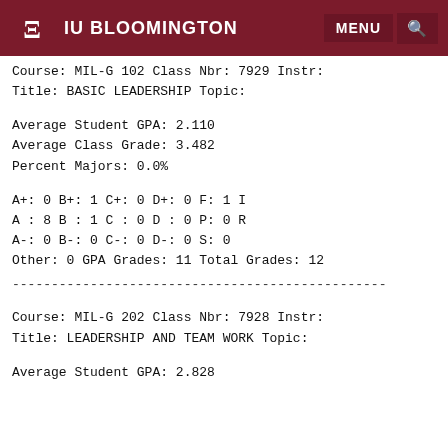IU BLOOMINGTON
Course: MIL-G  102  Class Nbr:  7929  Instr:
Title: BASIC LEADERSHIP               Topic:
Average Student GPA: 2.110
Average Class Grade: 3.482
Percent Majors: 0.0%
A+:    0  B+:    1  C+:    0  D+:    0  F:    1  I
A :    8  B :    1  C :    0  D :    0  P:    0  R
A-:    0  B-:    0  C-:    0  D-:    0  S:    0
Other:   0  GPA Grades:  11  Total Grades:  12
Course: MIL-G  202  Class Nbr:  7928  Instr:
Title: LEADERSHIP AND TEAM WORK       Topic:
Average Student GPA: 2.828